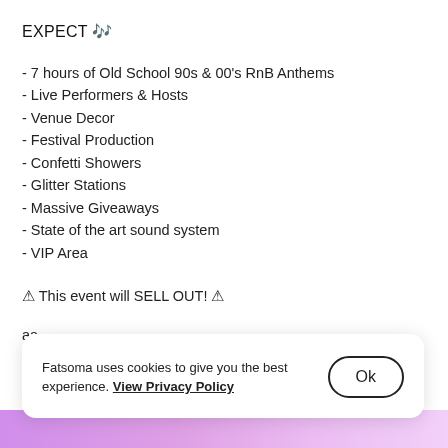EXPECT 🎶
- 7 hours of Old School 90s & 00's RnB Anthems
- Live Performers & Hosts
- Venue Decor
- Festival Production
- Confetti Showers
- Glitter Stations
- Massive Giveaways
- State of the art sound system
- VIP Area
⚠ This event will SELL OUT! ⚠
aa
Fatsoma uses cookies to give you the best experience. View Privacy Policy
Ok